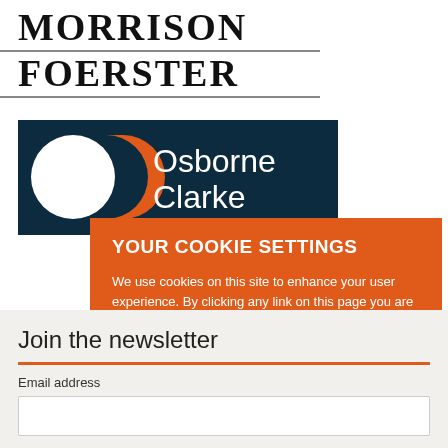[Figure (logo): Morrison Foerster law firm logo with serif text]
[Figure (logo): Osborne Clarke logo on dark navy background with white circle and orange arc shapes]
YOUR COOKIE SETTINGS
We use cookies on this site to enhance your user experience. By clicking any link on this page you are giving your consent for us to set cookies. Privacy Policy
YES, I ACCEPT
MORE INFORMATION
Join the newsletter
Email address